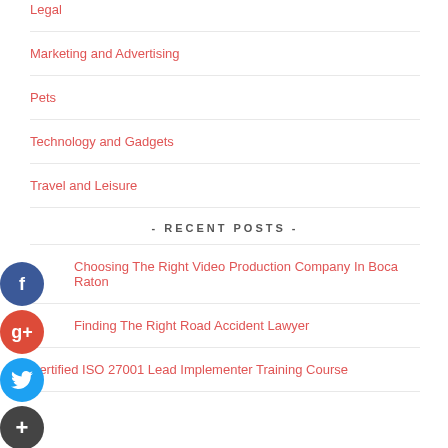Legal
Marketing and Advertising
Pets
Technology and Gadgets
Travel and Leisure
- RECENT POSTS -
Choosing The Right Video Production Company In Boca Raton
Finding The Right Road Accident Lawyer
Certified ISO 27001 Lead Implementer Training Course